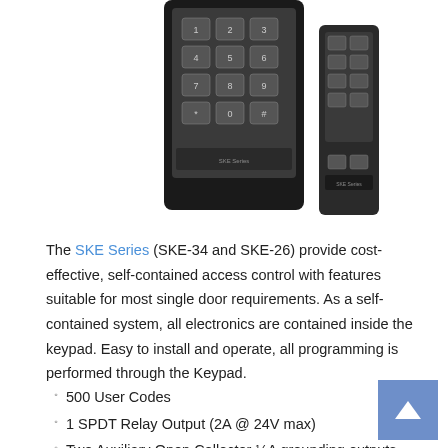[Figure (photo): Two SKE Series keypads (SKE-34 and SKE-26) shown side by side. The larger one on the left has a 3x4 button layout including numbers and special keys. The smaller one on the right is a slimmer version. Both are dark-colored electronic access control keypads.]
The SKE Series (SKE-34 and SKE-26) provide cost-effective, self-contained access control with features suitable for most single door requirements. As a self-contained system, all electronics are contained inside the keypad. Easy to install and operate, all programming is performed through the Keypad.
500 User Codes
1 SPDT Relay Output (2A @ 24V max)
Two Auxiliary Open Collector ¼A grounding outputs
5VDC or 12-24VDC Input/Output
Keypad Programmable